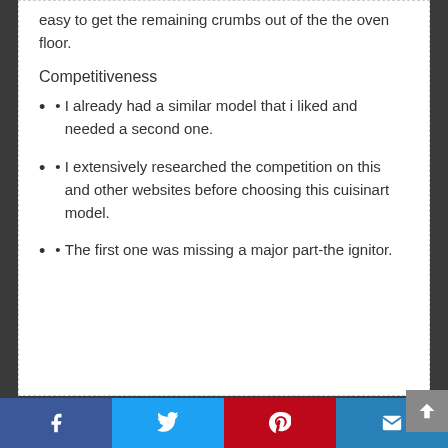easy to get the remaining crumbs out of the the oven floor.
Competitiveness
I already had a similar model that i liked and needed a second one.
I extensively researched the competition on this and other websites before choosing this cuisinart model.
The first one was missing a major part-the ignitor.